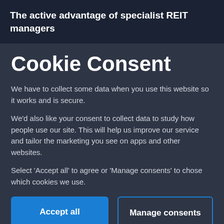The active advantage of specialist REIT managers
Cookie Consent
We have to collect some data when you use this website so it works and is secure.
We'd also like your consent to collect data to study how people use our site. This will help us improve our service and tailor the marketing you see on apps and other websites.
Select 'Accept all' to agree or 'Manage consents' to chose which cookies we use.
Accept all
Manage consents